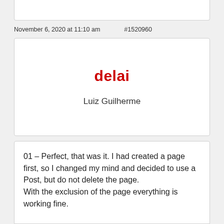November 6, 2020 at 11:10 am   #1520960
[Figure (logo): delai brand logo in red bold text]
Luiz Guilherme
01 – Perfect, that was it. I had created a page first, so I changed my mind and decided to use a Post, but do not delete the page.
With the exclusion of the page everything is working fine.